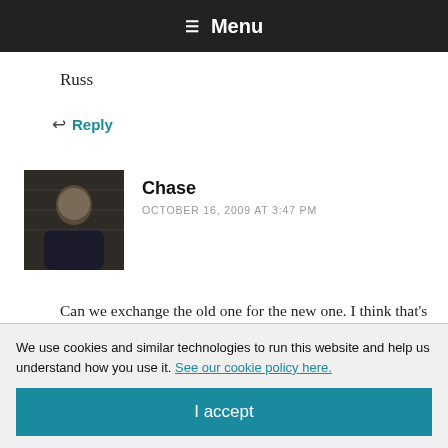≡ Menu
Russ
↩ Reply
Chase
OCTOBER 16, 2009 AT 3:47 PM
Can we exchange the old one for the new one. I think that's fair.
We use cookies and similar technologies to run this website and help us understand how you use it. See our cookie policy here.
I accept
OCTOBER 16, 2009 AT 3:54 PM